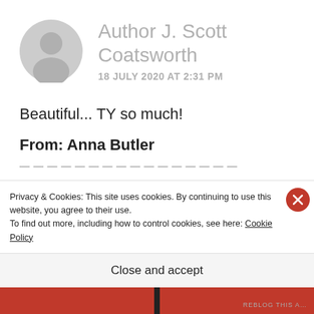[Figure (illustration): Circular grey avatar/profile placeholder image with a silhouette of a person]
Author J. Scott Coatsworth
18 JULY 2020 AT 2:31 PM
Beautiful... TY so much!
From: Anna Butler
Privacy & Cookies: This site uses cookies. By continuing to use this website, you agree to their use.
To find out more, including how to control cookies, see here: Cookie Policy
Close and accept